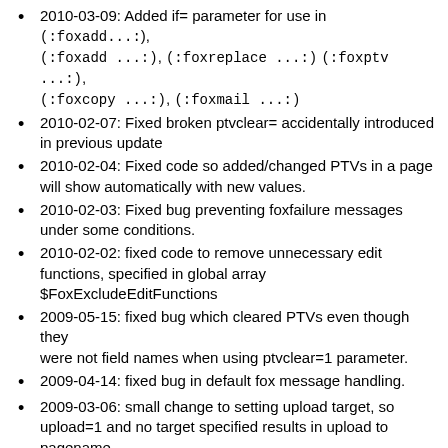2010-03-09: Added if= parameter for use in (:foxadd...:), (:foxadd ...:), (:foxreplace ...:) (:foxptv ...:), (:foxcopy ...:), (:foxmail ...:)
2010-02-07: Fixed broken ptvclear= accidentally introduced in previous update
2010-02-04: Fixed code so added/changed PTVs in a page will show automatically with new values.
2010-02-03: Fixed bug preventing foxfailure messages under some conditions.
2010-02-02: fixed code to remove unnecessary edit functions, specified in global array $FoxExcludeEditFunctions
2009-05-15: fixed bug which cleared PTVs even though they were not field names when using ptvclear=1 parameter.
2009-04-14: fixed bug in default fox message handling.
2009-03-06: small change to setting upload target, so upload=1 and no target specified results in upload to pagename.